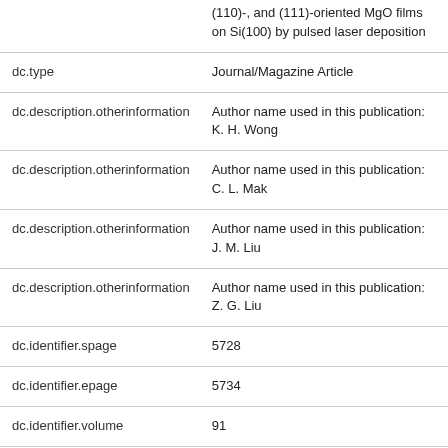| Field | Value |
| --- | --- |
|  | (110)-, and (111)-oriented MgO films on Si(100) by pulsed laser deposition |
| dc.type | Journal/Magazine Article |
| dc.description.otherinformation | Author name used in this publication: K. H. Wong |
| dc.description.otherinformation | Author name used in this publication: C. L. Mak |
| dc.description.otherinformation | Author name used in this publication: J. M. Liu |
| dc.description.otherinformation | Author name used in this publication: Z. G. Liu |
| dc.identifier.spage | 5728 |
| dc.identifier.epage | 5734 |
| dc.identifier.volume | 91 |